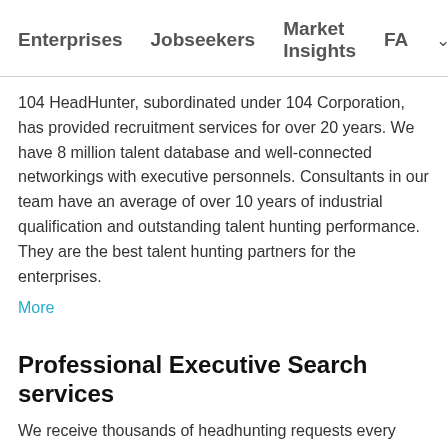Enterprises   Jobseekers   Market Insights   FA ∨
104 HeadHunter, subordinated under 104 Corporation, has provided recruitment services for over 20 years. We have 8 million talent database and well-connected networkings with executive personnels. Consultants in our team have an average of over 10 years of industrial qualification and outstanding talent hunting performance. They are the best talent hunting partners for the enterprises.
More
Professional Executive Search services
We receive thousands of headhunting requests every year and have accumulated tens of thousands successful